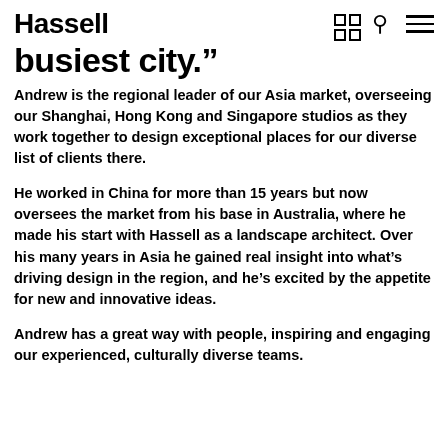Hassell
busiest city.”
Andrew is the regional leader of our Asia market, overseeing our Shanghai, Hong Kong and Singapore studios as they work together to design exceptional places for our diverse list of clients there.
He worked in China for more than 15 years but now oversees the market from his base in Australia, where he made his start with Hassell as a landscape architect. Over his many years in Asia he gained real insight into what’s driving design in the region, and he’s excited by the appetite for new and innovative ideas.
Andrew has a great way with people, inspiring and engaging our experienced, culturally diverse teams.